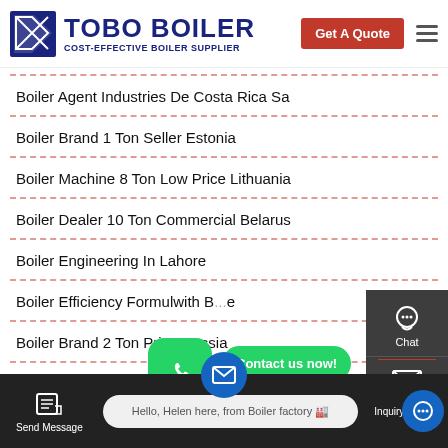[Figure (logo): TOBO BOILER logo with dark blue text and red Get A Quote button]
Boiler Agent Industries De Costa Rica Sa
Boiler Brand 1 Ton Seller Estonia
Boiler Machine 8 Ton Low Price Lithuania
Boiler Dealer 10 Ton Commercial Belarus
Boiler Engineering In Lahore
Boiler Efficiency Formulwith B...e
Boiler Brand 2 Ton Price Russia
[Figure (screenshot): Chat sidebar with Chat, Email, and contact options; WhatsApp button overlay with Contact us now bubble; TOP button; bottom navigation bar with Send Message, Helen chat bubble, and Inquiry Online]